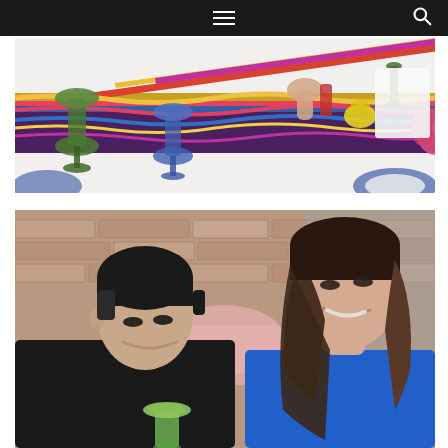Navigation bar with hamburger menu and search icon
[Figure (photo): Colorful table setting with decorative glassware including green and blue goblets, a striped purple and yellow runner, a pink lotus flower, lemon, and a hand reaching for a drink on a white tablecloth]
[Figure (photo): A man and a woman sitting together smiling and looking down, the man in dark clothing with short dark hair, the woman in a bright blue top with shoulder-length brown hair, brick wall background, holding cocktails with lime garnish]